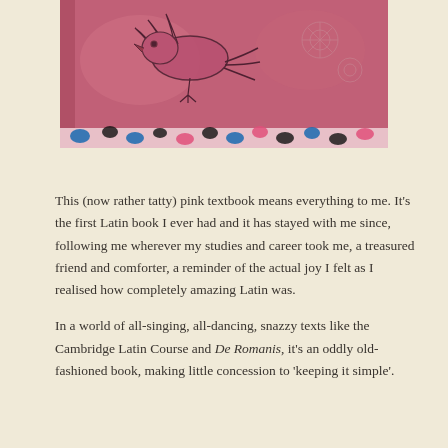[Figure (photo): A worn pink textbook cover with decorative engraved illustration of a bird and floral designs, with a colorful patterned endpaper visible at the bottom edge showing blue, black, and pink leopard-print pattern.]
This (now rather tatty) pink textbook means everything to me. It's the first Latin book I ever had and it has stayed with me since, following me wherever my studies and career took me, a treasured friend and comforter, a reminder of the actual joy I felt as I realised how completely amazing Latin was.
In a world of all-singing, all-dancing, snazzy texts like the Cambridge Latin Course and De Romanis, it's an oddly old-fashioned book, making little concession to 'keeping it simple'.